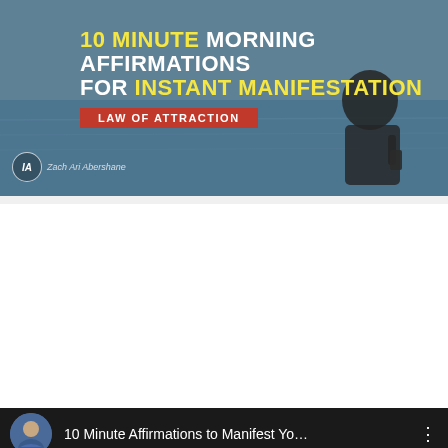[Figure (screenshot): Top thumbnail: woman sitting by ocean, text overlay '10 MINUTE MORNING AFFIRMATIONS FOR INSTANT MANIFESTATION' with 'LAW OF ATTRACTION' badge, IA logo]
[Figure (screenshot): YouTube video card with channel avatar (man in blue jacket), title '10 Minute Affirmations to Manifest Yo...' and three-dot menu]
[Figure (screenshot): Bottom YouTube video thumbnail: woman with headphones outdoors, text '10 MINUTE MORNING AFFIRMATIONS FOR INSTANT MANIFESTATION', YouTube play button overlay]